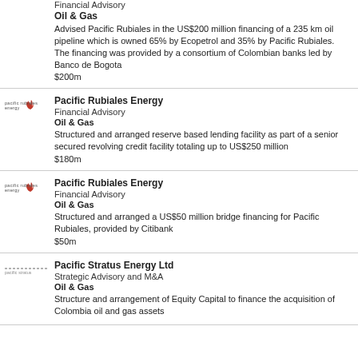Financial Advisory
Oil & Gas
Advised Pacific Rubiales in the US$200 million financing of a 235 km oil pipeline which is owned 65% by Ecopetrol and 35% by Pacific Rubiales. The financing was provided by a consortium of Colombian banks led by Banco de Bogota
$200m
Pacific Rubiales Energy
Financial Advisory
Oil & Gas
Structured and arranged reserve based lending facility as part of a senior secured revolving credit facility totaling up to US$250 million
$180m
Pacific Rubiales Energy
Financial Advisory
Oil & Gas
Structured and arranged a US$50 million bridge financing for Pacific Rubiales, provided by Citibank
$50m
Pacific Stratus Energy Ltd
Strategic Advisory and M&A
Oil & Gas
Structure and arrangement of Equity Capital to finance the acquisition of Colombia oil and gas assets